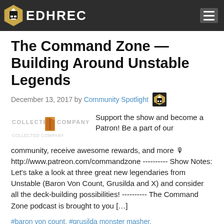EDHREC
The Command Zone — Building Around Unstable Legends
December 13, 2017 by Community Spotlight
[Figure (logo): Collected Company logo — faded text with an orange book icon]
Support the show and become a Patron! Be a part of our community, receive awesome rewards, and more 🎙 http://www.patreon.com/commandzone ---------- Show Notes: Let's take a look at three great new legendaries from Unstable (Baron Von Count, Grusilda and X) and consider all the deck-building possibilities! ---------- The Command Zone podcast is brought to you […]
#baron von count, #grusilda monster masher, #the command zone, #x
Read More »